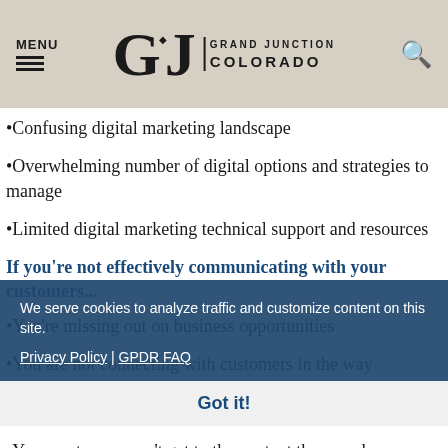MENU | Grand Junction Colorado
•Confusing digital marketing landscape
•Overwhelming number of digital options and strategies to manage
•Limited digital marketing technical support and resources
If you're not effectively communicating with your customers...
•You're missing out on business opportunities
•You are not connecting with customers in the way customers want to connect - instant, real-time communication
•Your customers can't get to the content they need - location, hours of operation, menus/services, safety
We serve cookies to analyze traffic and customize content on this site. Privacy Policy | GPDR FAQ Got it!